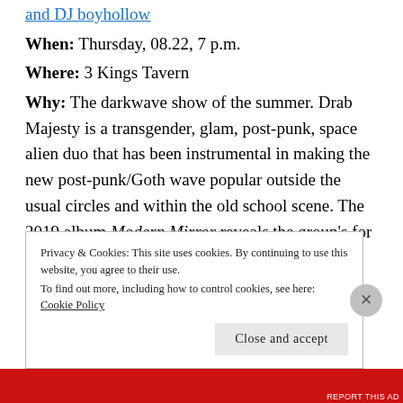and DJ boyhollow
When: Thursday, 08.22, 7 p.m.
Where: 3 Kings Tavern
Why: The darkwave show of the summer. Drab Majesty is a transgender, glam, post-punk, space alien duo that has been instrumental in making the new post-punk/Goth wave popular outside the usual circles and within the old school scene. The 2019 album Modern Mirror reveals the group's for well crafted songs beyond the entrancing, atmospheric mood that could overshadow Deb Demure's writing in the past. Body of Light has synthesized the minimal synth influences
Privacy & Cookies: This site uses cookies. By continuing to use this website, you agree to their use.
To find out more, including how to control cookies, see here: Cookie Policy